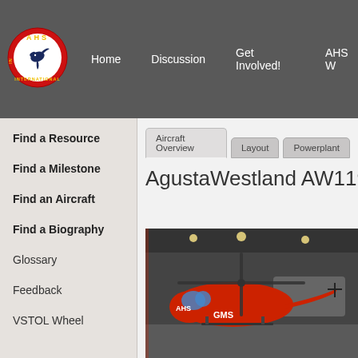[Figure (logo): AHS International logo: red circle with yellow text AHS INTERNATIONAL and a hummingbird silhouette in the center]
Home   Discussion   Get Involved!   AHS W
Find a Resource
Find a Milestone
Find an Aircraft
Find a Biography
Glossary
Feedback
VSTOL Wheel
Aircraft Overview   Layout   Powerplant
AgustaWestland AW119K
[Figure (photo): Red AgustaWestland helicopter on display at an indoor airshow, with GMS branding on the fuselage]